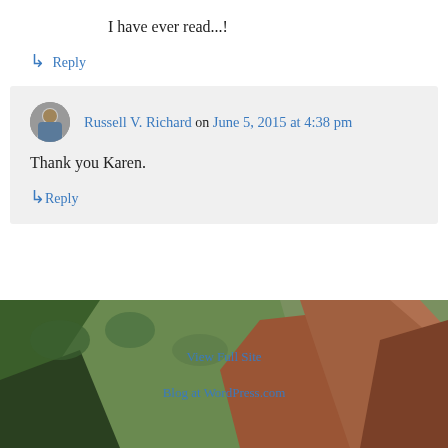I have ever read...!
↳ Reply
Russell V. Richard on June 5, 2015 at 4:38 pm
Thank you Karen.
↳ Reply
[Figure (photo): Aerial or landscape photo of a canyon with green trees and red rock formations]
View Full Site
Blog at WordPress.com